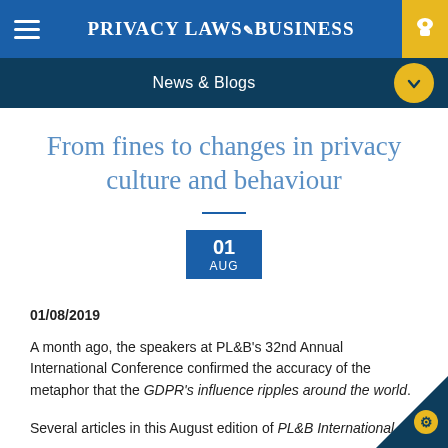PRIVACY LAWS & BUSINESS
News & Blogs
From fines to changes in privacy culture and behaviour
01 AUG
01/08/2019
A month ago, the speakers at PL&B's 32nd Annual International Conference confirmed the accuracy of the metaphor that the GDPR's influence ripples around the world.
Several articles in this August edition of PL&B International